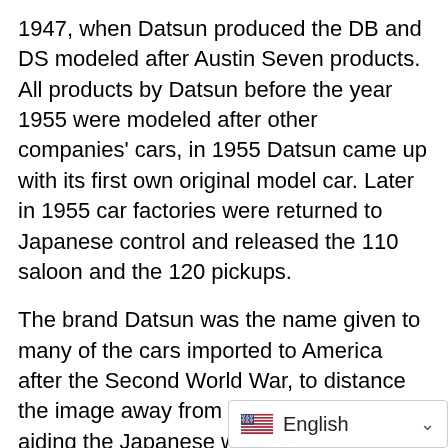1947, when Datsun produced the DB and DS modeled after Austin Seven products. All products by Datsun before the year 1955 were modeled after other companies' cars, in 1955 Datsun came up with its first own original model car. Later in 1955 car factories were returned to Japanese control and released the 110 saloon and the 120 pickups.
The brand Datsun was the name given to many of the cars imported to America after the Second World War, to distance the image away from the Nissan company aiding the Japanese war machine. Datsun began exporting to America in 1958, while experiencing success with the Bluebird 510 sales reaching over 200,000. Then in 1968 producing the 240Z which soon became the top selling sports car in the world. From the years of 1960 to 1975 Nissan cars exporting to America were br[anded...] was similar with the Europea[n...]